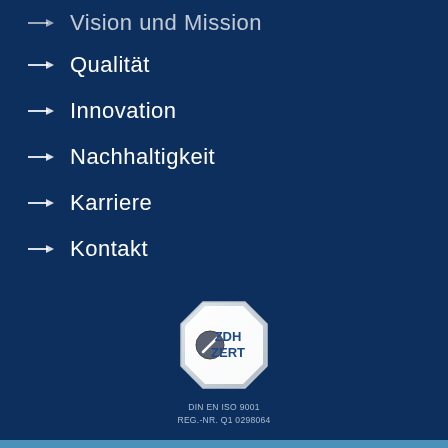→ Vision und Mission
→ Qualität
→ Innovation
→ Nachhaltigkeit
→ Karriere
→ Kontakt
[Figure (logo): ZDH ZERT certification logo - octagonal silver badge with ZDH ZERT text and a circular emblem. Below: DIN EN ISO 9001 REG.-NR. Q1 0298064]